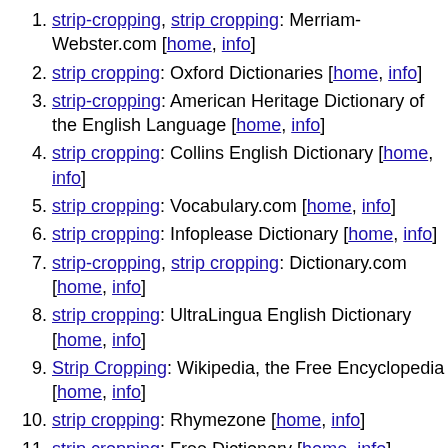strip-cropping, strip cropping: Merriam-Webster.com [home, info]
strip cropping: Oxford Dictionaries [home, info]
strip-cropping: American Heritage Dictionary of the English Language [home, info]
strip cropping: Collins English Dictionary [home, info]
strip cropping: Vocabulary.com [home, info]
strip cropping: Infoplease Dictionary [home, info]
strip-cropping, strip cropping: Dictionary.com [home, info]
strip cropping: UltraLingua English Dictionary [home, info]
Strip Cropping: Wikipedia, the Free Encyclopedia [home, info]
strip cropping: Rhymezone [home, info]
strip cropping: Free Dictionary [home, info]